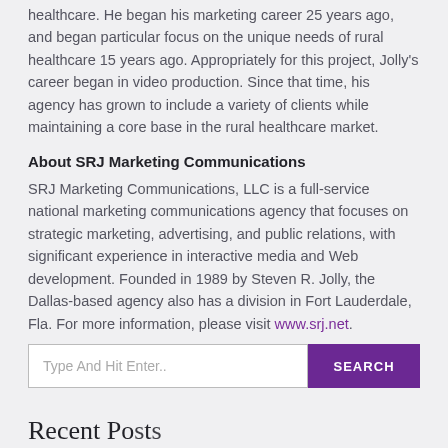healthcare. He began his marketing career 25 years ago, and began particular focus on the unique needs of rural healthcare 15 years ago. Appropriately for this project, Jolly's career began in video production. Since that time, his agency has grown to include a variety of clients while maintaining a core base in the rural healthcare market.
About SRJ Marketing Communications
SRJ Marketing Communications, LLC is a full-service national marketing communications agency that focuses on strategic marketing, advertising, and public relations, with significant experience in interactive media and Web development. Founded in 1989 by Steven R. Jolly, the Dallas-based agency also has a division in Fort Lauderdale, Fla. For more information, please visit www.srj.net.
Recent Posts